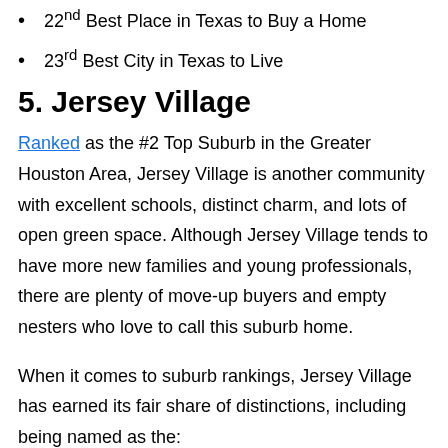22nd Best Place in Texas to Buy a Home
23rd Best City in Texas to Live
5. Jersey Village
Ranked as the #2 Top Suburb in the Greater Houston Area, Jersey Village is another community with excellent schools, distinct charm, and lots of open green space. Although Jersey Village tends to have more new families and young professionals, there are plenty of move-up buyers and empty nesters who love to call this suburb home.
When it comes to suburb rankings, Jersey Village has earned its fair share of distinctions, including being named as the: